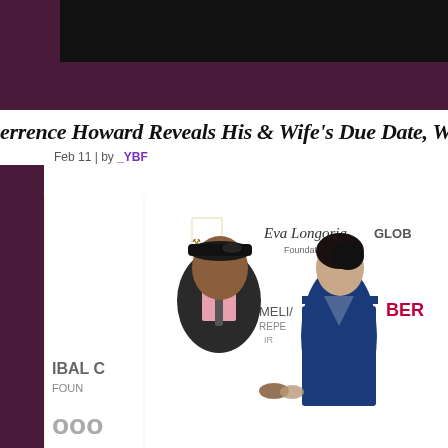errence Howard Reveals His & Wife's Due Date, W
Feb 11 | by _YBF
[Figure (photo): Terrence Howard and wife posing together at a red carpet event with Eva Longoria Foundation and other sponsor banners in the background. Howard wears a dark suit with pink shirt, tie, and flat cap. His wife wears a deep blue dress.]